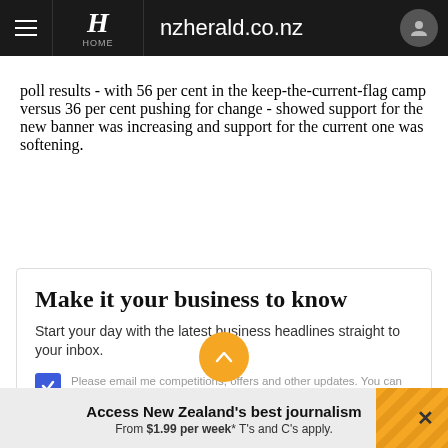nzherald.co.nz
poll results - with 56 per cent in the keep-the-current-flag camp versus 36 per cent pushing for change - showed support for the new banner was increasing and support for the current one was softening.
Make it your business to know
Start your day with the latest business headlines straight to your inbox.
Please email me competitions, offers and other updates. You can stop these at any time.
Access New Zealand's best journalism From $1.99 per week* T's and C's apply.